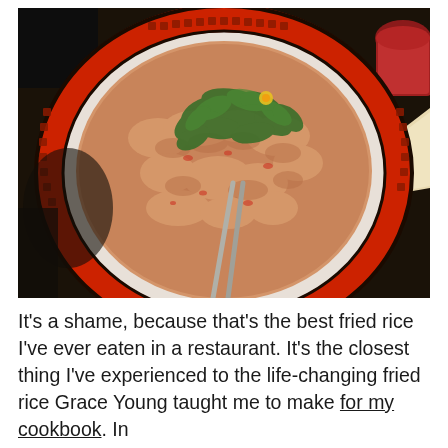[Figure (photo): A bowl of fried rice garnished with fresh cilantro/herbs, served in a decorative red and white Chinese-patterned bowl with chopsticks resting in the bowl. The bowl sits on a dark table; a red cup is visible in the upper right corner.]
It's a shame, because that's the best fried rice I've ever eaten in a restaurant. It's the closest thing I've experienced to the life-changing fried rice Grace Young taught me to make for my cookbook. In